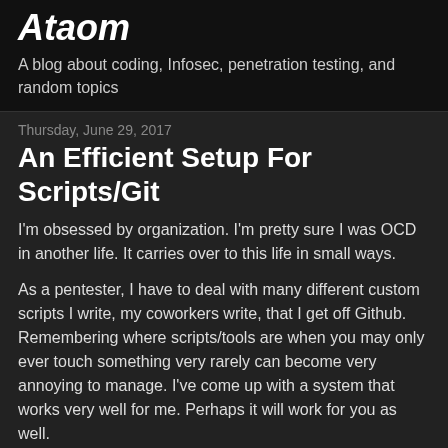Ataom
A blog about coding, Infosec, penetration testing, and random topics
Thursday, June 29, 2017
An Efficient Setup For Scripts/Git
I'm obsessed by organization. I'm pretty sure I was OCD in another life. It carries over to this life in small ways.
As a pentester, I have to deal with many different custom scripts I write, my coworkers write, that I get off Github. Remembering where scripts/tools are when you may only ever touch something very rarely can become very annoying to manage. I've come up with a system that works very well for me. Perhaps it will work for you as well.
~/projects/
My overall projects folder that contains both git repos as well as temporary project ideas that may turn into
as well as temporary project ideas that may turn into